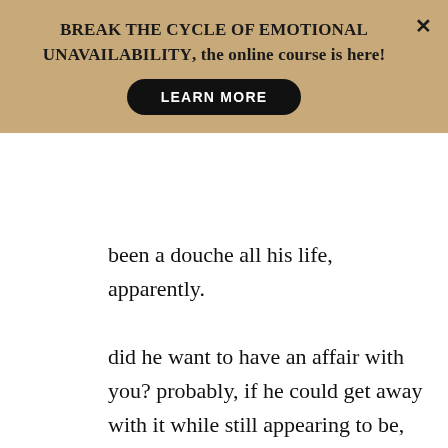[Figure (screenshot): A tan/gold promotional banner with text 'BREAK THE CYCLE OF EMOTIONAL UNAVAILABILITY, the online course is here!' and a black 'LEARN MORE' button, with an X close button in the upper right.]
been a douche all his life, apparently.
did he want to have an affair with you? probably, if he could get away with it while still appearing to be, in his view, a good guy. i am always astonished at the tortured logic some men